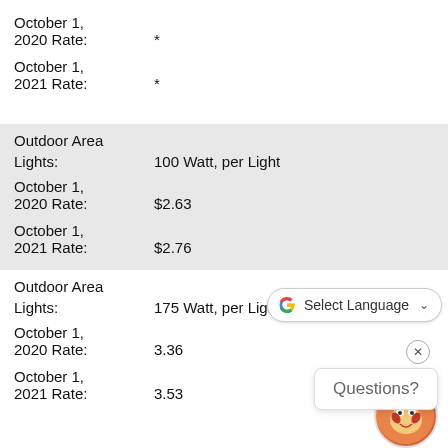October 1, 2020 Rate: *
October 1, 2021 Rate: *
Outdoor Area Lights: 100 Watt, per Light
October 1, 2020 Rate: $2.63
October 1, 2021 Rate: $2.76
Outdoor Area Lights: 175 Watt, per Light
October 1, 2020 Rate: 3.36
October 1, 2021 Rate: 3.53